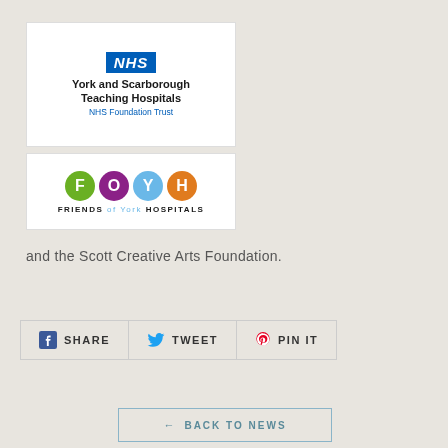[Figure (logo): NHS York and Scarborough Teaching Hospitals NHS Foundation Trust logo — white rectangle with NHS blue badge and black bold text]
[Figure (logo): Friends of York Hospitals (FOYH) logo — white rectangle with four coloured circles (green F, purple O, blue Y, orange H) and bold text FRIENDS of York HOSPITALS]
and the Scott Creative Arts Foundation.
SHARE   TWEET   PIN IT
← BACK TO NEWS